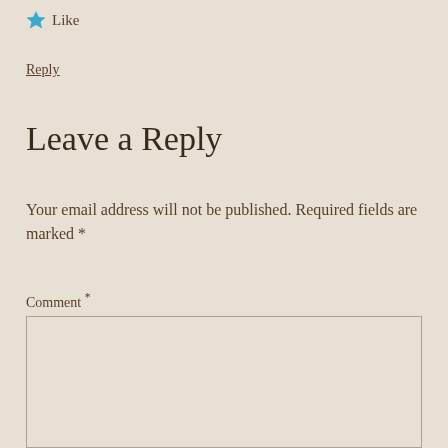★ Like
Reply
Leave a Reply
Your email address will not be published. Required fields are marked *
Comment *